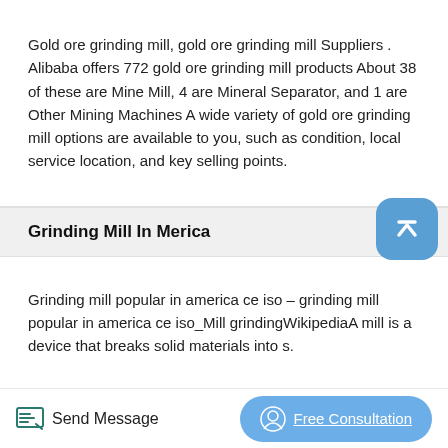Gold ore grinding mill, gold ore grinding mill Suppliers . Alibaba offers 772 gold ore grinding mill products About 38 of these are Mine Mill, 4 are Mineral Separator, and 1 are Other Mining Machines A wide variety of gold ore grinding mill options are available to you, such as condition, local service location, and key selling points.
Grinding Mill In Merica
Grinding mill popular in america ce iso – grinding mill popular in america ce iso_Mill grindingWikipediaA mill is a device that breaks solid materials into s.
Buy Stone Crusher Production Line India
Send Message
Free Consultation